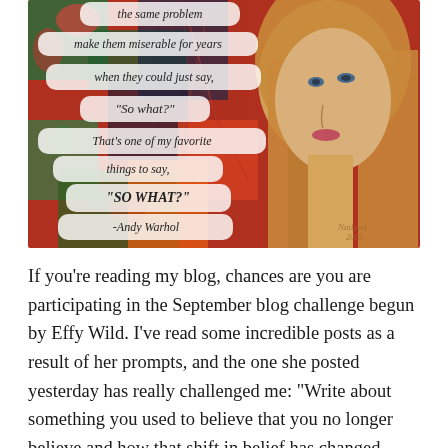[Figure (illustration): Mixed media artwork showing an illustrated woman with long blonde hair on the right side, against a colorful collage background of reds, greens, and dark patterns. Overlaid text contains an Andy Warhol quote: 'the same problem make them miserable for years when they could just say, "So what?" That’s one of my favorite things to say, "SO WHAT?" -Andy Warhol']
If you’re reading my blog, chances are you are participating in the September blog challenge begun by Effy Wild. I’ve read some incredible posts as a result of her prompts, and the one she posted yesterday has really challenged me: “Write about something you used to believe that you no longer believe and how that shift in belief has changed things for you.”